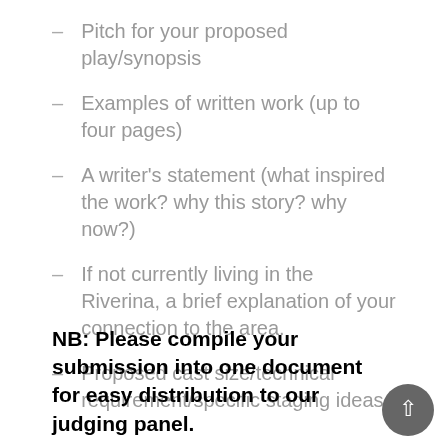Pitch for your proposed play/synopsis
Examples of written work (up to four pages)
A writer's statement (what inspired the work? why this story? why now?)
If not currently living in the Riverina, a brief explanation of your connection to the area.
Proposed cast size/technical requirement/specific staging ideas
NB: Please compile your submission into one document for easy distribution to our judging panel.